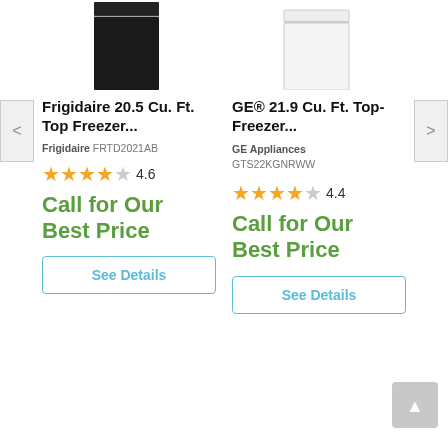[Figure (photo): Black top-freezer refrigerator product image]
Frigidaire 20.5 Cu. Ft. Top Freezer...
Frigidaire FRTD2021AB
4.6 stars rating
Call for Our Best Price
See Details
[Figure (photo): White top-freezer refrigerator product image]
GE® 21.9 Cu. Ft. Top-Freezer...
GE Appliances GTS22KGNRWW
4.4 stars rating
Call for Our Best Price
See Details